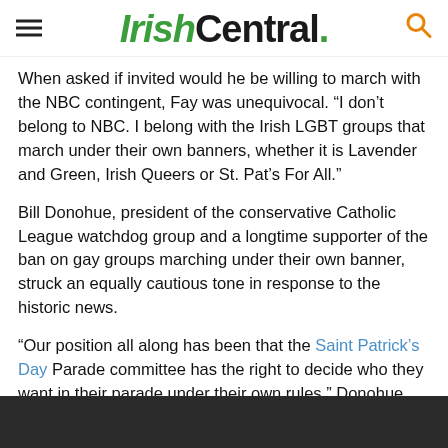IrishCentral.
When asked if invited would he be willing to march with the NBC contingent, Fay was unequivocal. “I don’t belong to NBC. I belong with the Irish LGBT groups that march under their own banners, whether it is Lavender and Green, Irish Queers or St. Pat’s For All.”
Bill Donohue, president of the conservative Catholic League watchdog group and a longtime supporter of the ban on gay groups marching under their own banner, struck an equally cautious tone in response to the historic news.
“Our position all along has been that the Saint Patrick’s Day Parade committee has the right to decide who they want in their parade under their own rules,” Donohue told IrishCentral. “They have said no to gay groups and that was fine with me.”